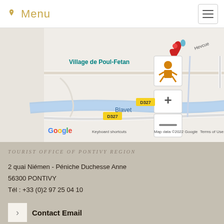Menu
[Figure (map): Google Maps screenshot showing Village de Poul-Fetan area with road D327, river Blavet, map controls (pegman, zoom +/-). Map data ©2022 Google. Shows roads, a blue river labeled Blavet, and a red location pin near Village de Poul-Fetan label in teal text.]
TOURIST OFFICE OF PONTIVY REGION
2 quai Niémen - Péniche Duchesse Anne
56300 PONTIVY
Tél : +33 (0)2 97 25 04 10
Contact Email